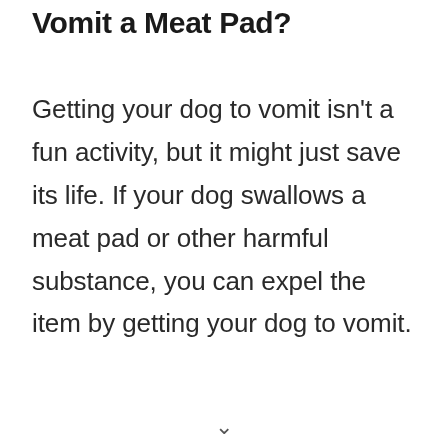Vomit a Meat Pad?
Getting your dog to vomit isn't a fun activity, but it might just save its life. If your dog swallows a meat pad or other harmful substance, you can expel the item by getting your dog to vomit.